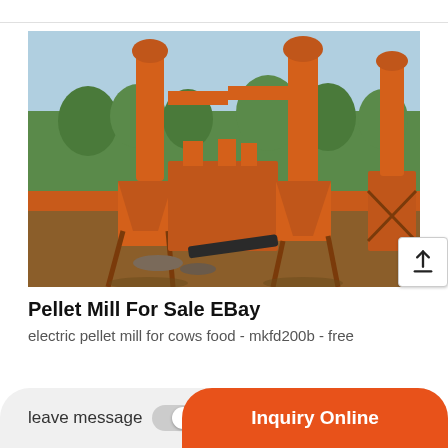[Figure (photo): Two tall orange industrial pellet mill cyclone machines outdoors, surrounded by trees, with connecting pipes and structural supports on dirt ground.]
Pellet Mill For Sale EBay
electric pellet mill for cows food - mkfd200b - free